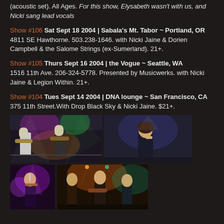(acoustic set). All Ages. For this show, Elysabeth wasn't with us, and Nicki sang lead vocals
Show #106 Sat Sept 18 2004 | Sabala's Mt. Tabor ~ Portland, OR
4811 SE Hawthorne. 503.238-1646. with Nicki Jaine & Dorien Campbell & the Salome Strings (ex-Sumerland). 21+.
Show #105 Thurs Sept 16 2004 | the Vogue ~ Seattle, WA
1516 11th Ave. 206-324-5778. Presented by Musicwerks. with Nicki Jaine & Legion Within. 21+.
Show #104 Tues Sept 14 2004 | DNA lounge ~ San Francisco, CA
375 11th Street. With Drop Black Sky & Nicki Jaine. $21+.
[Figure (photo): Concert performance photos - two top row images: left shows two performers on stage with guitars and colored lighting, right shows a female singer at a microphone]
[Figure (photo): Concert performance photos - two bottom row images: left shows a female performer with violin under purple light, right shows a band performing on stage with orange/teal lighting]